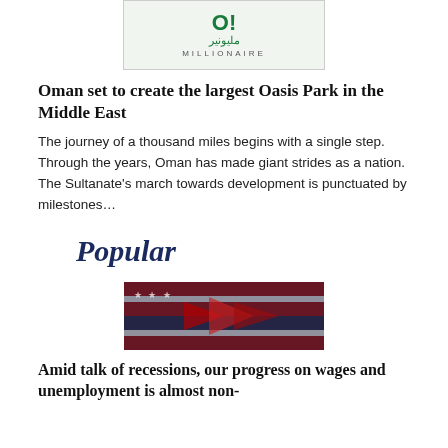[Figure (logo): Millionaire magazine logo with Arabic text and green O! emblem]
Oman set to create the largest Oasis Park in the Middle East
The journey of a thousand miles begins with a single step. Through the years, Oman has made giant strides as a nation. The Sultanate's march towards development is punctuated by milestones…
Popular
[Figure (photo): Blurred image of an American flag with red arrows, dark overlay, relating to recession and wages article]
Amid talk of recessions, our progress on wages and unemployment is almost non-